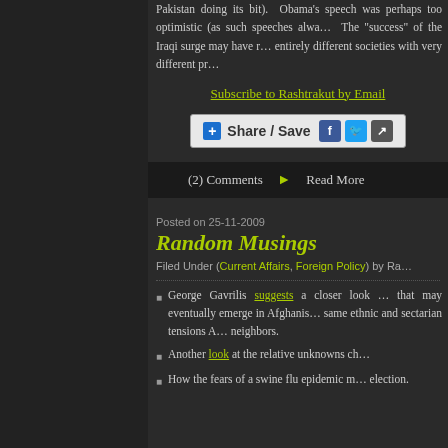Pakistan doing its bit). Obama's speech was perhaps too optimistic (as such speeches alwa... The "success" of the Iraqi surge may have r... entirely different societies with very different pr...
Subscribe to Rashtrakut by Email
[Figure (screenshot): Share / Save button with Facebook, Twitter, and share icons]
(2) Comments • Read More
Posted on 25-11-2009
Random Musings
Filed Under (Current Affairs, Foreign Policy) by Ra...
George Gavrilis suggests a closer look ... that may eventually emerge in Afghanis... same ethnic and sectarian tensions A... neighbors.
Another look at the relative unknowns ch...
How the fears of a swine flu epidemic m... election.